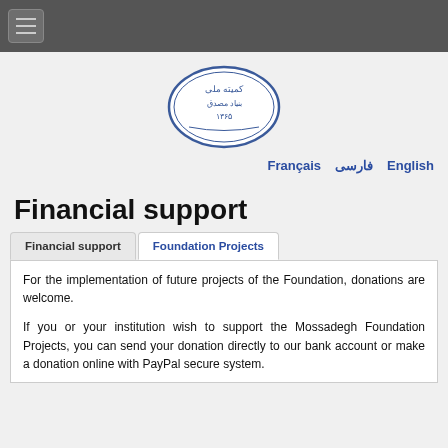≡ (menu button)
[Figure (logo): Oval seal/logo with Persian calligraphy text and decorative border in blue ink]
Français  فارسی  English
Financial support
Financial support   Foundation Projects
For the implementation of future projects of the Foundation, donations are welcome.

If you or your institution wish to support the Mossadegh Foundation Projects, you can send your donation directly to our bank account or make a donation online with PayPal secure system.